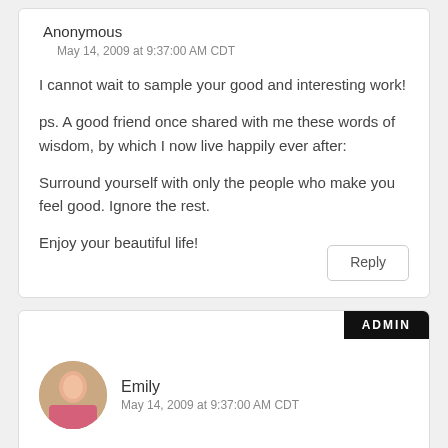Anonymous
May 14, 2009 at 9:37:00 AM CDT
I cannot wait to sample your good and interesting work!
ps. A good friend once shared with me these words of wisdom, by which I now live happily ever after:
Surround yourself with only the people who make you feel good. Ignore the rest.
Enjoy your beautiful life!
Reply
ADMIN
Emily
May 14, 2009 at 9:37:00 AM CDT
Hi Jen, I agree. I wish people could all just get along.
Laura, I think it adds a more complex flavor, and also the texture